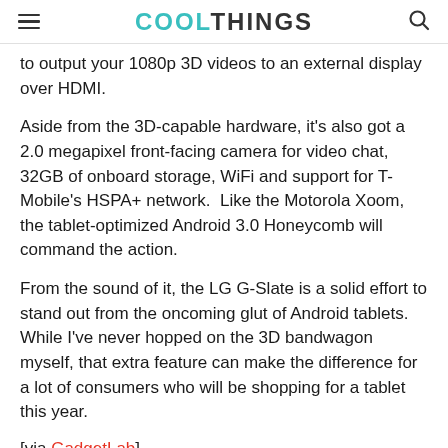COOLTHINGS
to output your 1080p 3D videos to an external display over HDMI.
Aside from the 3D-capable hardware, it's also got a 2.0 megapixel front-facing camera for video chat, 32GB of onboard storage, WiFi and support for T-Mobile's HSPA+ network.  Like the Motorola Xoom, the tablet-optimized Android 3.0 Honeycomb will command the action.
From the sound of it, the LG G-Slate is a solid effort to stand out from the oncoming glut of Android tablets. While I've never hopped on the 3D bandwagon myself, that extra feature can make the difference for a lot of consumers who will be shopping for a tablet this year.
[via GadgetLab]